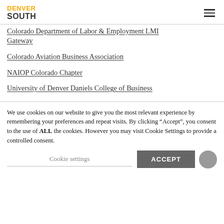DENVER SOUTH
Colorado Department of Labor & Employment LMI Gateway
Colorado Aviation Business Association
NAIOP Colorado Chapter
University of Denver Daniels College of Business
We use cookies on our website to give you the most relevant experience by remembering your preferences and repeat visits. By clicking “Accept”, you consent to the use of ALL the cookies. However you may visit Cookie Settings to provide a controlled consent.